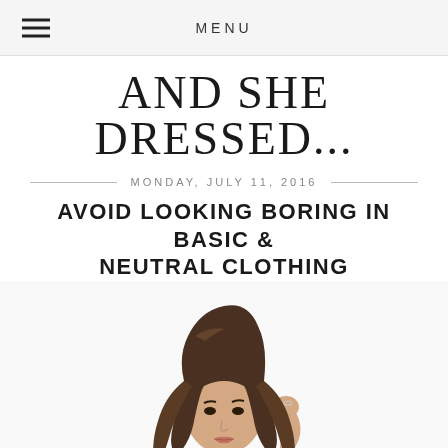MENU
AND SHE DRESSED...
MONDAY, JULY 11, 2016
AVOID LOOKING BORING IN BASIC & NEUTRAL CLOTHING
[Figure (photo): Young woman with long wavy brunette ombre hair wearing a white sleeveless top and black high-waisted skirt/pants, holding her hair back with one hand, against a white background]